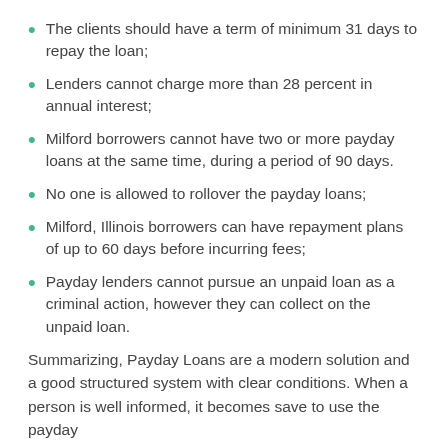The clients should have a term of minimum 31 days to repay the loan;
Lenders cannot charge more than 28 percent in annual interest;
Milford borrowers cannot have two or more payday loans at the same time, during a period of 90 days.
No one is allowed to rollover the payday loans;
Milford, Illinois borrowers can have repayment plans of up to 60 days before incurring fees;
Payday lenders cannot pursue an unpaid loan as a criminal action, however they can collect on the unpaid loan.
Summarizing, Payday Loans are a modern solution and a good structured system with clear conditions. When a person is well informed, it becomes save to use the payday